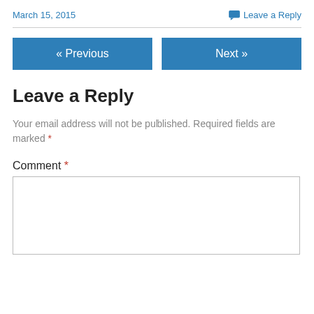March 15, 2015
Leave a Reply
« Previous
Next »
Leave a Reply
Your email address will not be published. Required fields are marked *
Comment *